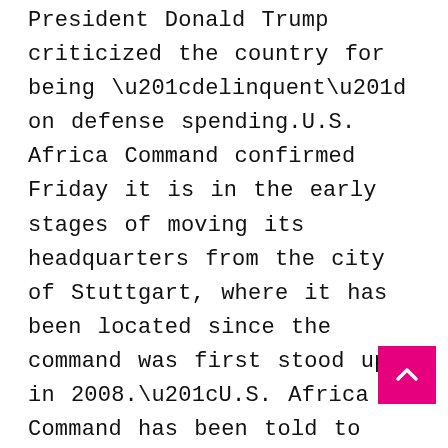President Donald Trump criticized the country for being “delinquent” on defense spending.U.S. Africa Command confirmed Friday it is in the early stages of moving its headquarters from the city of Stuttgart, where it has been located since the command was first stood up in 2008.“U.S. Africa Command has been told to plan to move,” its commander, Gen. Stephen Townsend, said in a statement. “While it will likely take several months to develop options, consider locations, and come to a decision, the command has started the process.” U.S. military officials